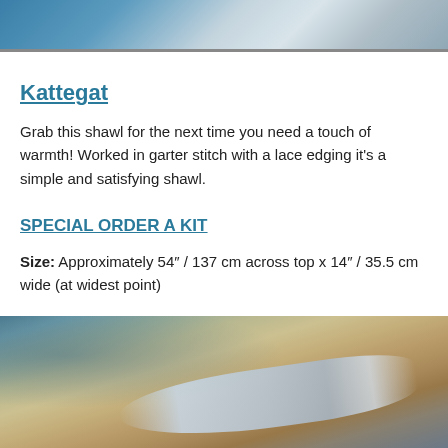[Figure (photo): Top portion of a photo showing a knitted shawl in blue/grey tones being worn or displayed]
Kattegat
Grab this shawl for the next time you need a touch of warmth! Worked in garter stitch with a lace edging it's a simple and satisfying shawl.
SPECIAL ORDER A KIT
Size: Approximately 54″ / 137 cm across top x 14″ / 35.5 cm wide (at widest point)
[Figure (photo): Photo of a light blue/grey lace knitted shawl laid out on a wooden table with teal chairs visible in background]